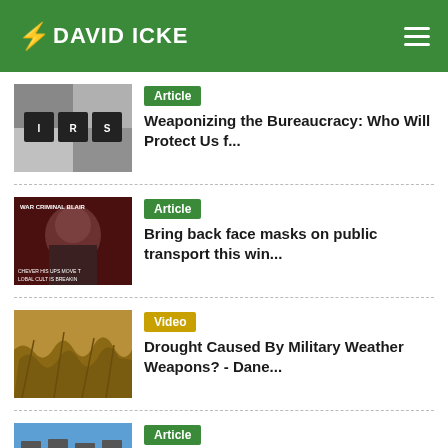DAVID ICKE
Article — Weaponizing the Bureaucracy: Who Will Protect Us f...
Article — Bring back face masks on public transport this win...
Video — Drought Caused By Military Weather Weapons? - Dane...
Article — Why the housing market is about to crash